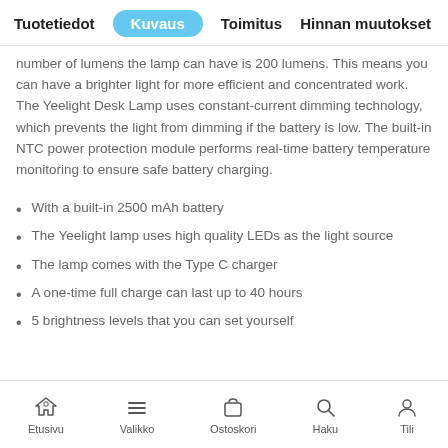Tuotetiedot  Kuvaus  Toimitus  Hinnan muutokset
number of lumens the lamp can have is 200 lumens. This means you can have a brighter light for more efficient and concentrated work. The Yeelight Desk Lamp uses constant-current dimming technology, which prevents the light from dimming if the battery is low. The built-in NTC power protection module performs real-time battery temperature monitoring to ensure safe battery charging.
With a built-in 2500 mAh battery
The Yeelight lamp uses high quality LEDs as the light source
The lamp comes with the Type C charger
A one-time full charge can last up to 40 hours
5 brightness levels that you can set yourself
Etusivu  Valikko  Ostoskori  Haku  Tili